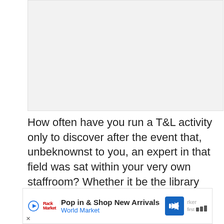[Figure (photo): Light gray placeholder image area at the top of the page]
How often have you run a T&L activity only to discover after the event that, unbeknownst to you, an expert in that field was sat within your very own staffroom? Whether it be the library assistant with three years' experience as a
[Figure (other): Advertisement banner: Pop in & Shop New Arrivals - World Market]